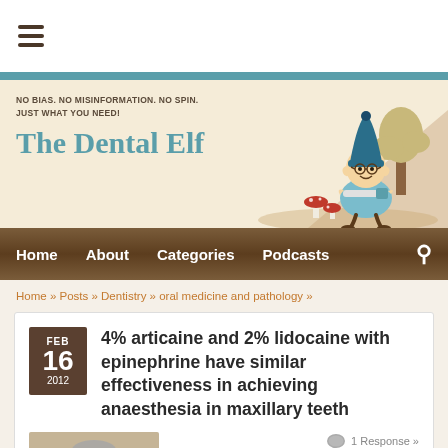[Figure (logo): Hamburger menu icon (three horizontal lines) in top white bar]
[Figure (illustration): The Dental Elf website header banner with tagline, site title in teal, and cartoon elf character holding a toothbrush next to mushrooms and a tree]
Home   About   Categories   Podcasts
Home » Posts » Dentistry » oral medicine and pathology »
4% articaine and 2% lidocaine with epinephrine have similar effectiveness in achieving anaesthesia in maxillary teeth
1 Response »
[Figure (photo): Photo of a dental professional wearing a mask and gloves, working on a patient]
The aim of the study was to compare the anaesthetic efficacy of buccal infiltrations of 4% articaine with